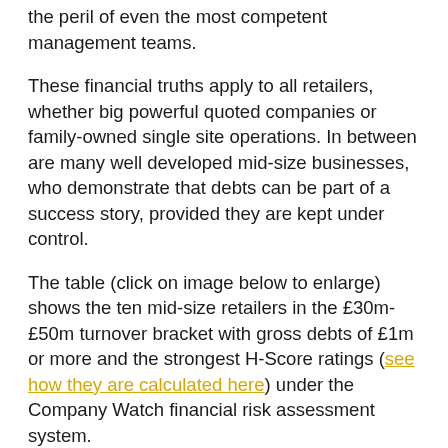the peril of even the most competent management teams.
These financial truths apply to all retailers, whether big powerful quoted companies or family-owned single site operations. In between are many well developed mid-size businesses, who demonstrate that debts can be part of a success story, provided they are kept under control.
The table (click on image below to enlarge) shows the ten mid-size retailers in the £30m-£50m turnover bracket with gross debts of £1m or more and the strongest H-Score ratings (see how they are calculated here) under the Company Watch financial risk assessment system.
All of these businesses are carrying significant gross debts. But once their cash holdings are netted off, their gearing ratios in relation to their net worth (the shareholders" stake in the company) are, with one exception, well within accepted tolerances.
Ultimately, they are using debt to invest in their businesses